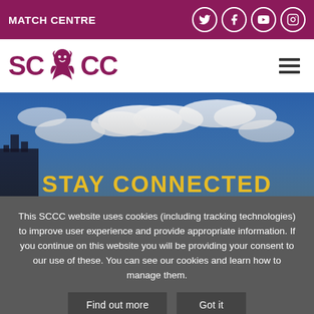MATCH CENTRE
[Figure (logo): SCCC (Scottish Cricket County Club) logo with maroon griffin/dragon between SC and CC letters]
[Figure (photo): Sky and clouds background with a partial view of a building/tower on the left, with yellow bold text 'STAY CONNECTED' at the bottom]
This SCCC website uses cookies (including tracking technologies) to improve user experience and provide appropriate information. If you continue on this website you will be providing your consent to our use of these. You can see our cookies and learn how to manage them.
Find out more | Got it